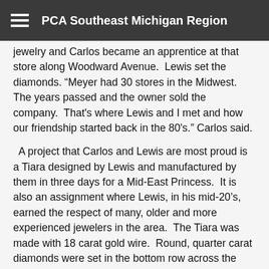PCA Southeast Michigan Region
jewelry and Carlos became an apprentice at that store along Woodward Avenue.  Lewis set the diamonds. “Meyer had 30 stores in the Midwest.   The years passed and the owner sold the company.  That's where Lewis and I met and how our friendship started back in the 80's.” Carlos said.
A project that Carlos and Lewis are most proud is a Tiara designed by Lewis and manufactured by them in three days for a Mid-East Princess.  It is also an assignment where Lewis, in his mid-20’s, earned the respect of many, older and more experienced jewelers in the area.  The Tiara was made with 18 carat gold wire.  Round, quarter carat diamonds were set in the bottom row across the front with multi layers of diamonds set on top of the first. The Tiara stretched behind the ears on both sides with additional rows of